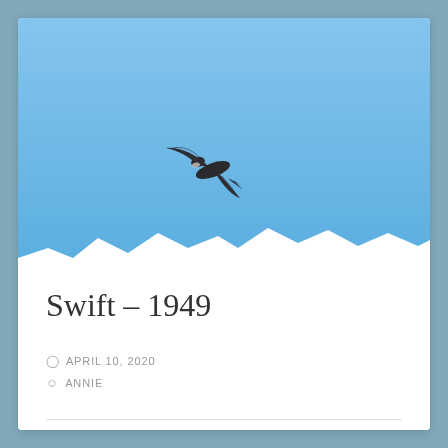[Figure (photo): A swift bird in flight against a clear blue sky. The bird is in the upper-left portion of the image with wings swept back. A watermark reads '(c) Annie Haycock' in the lower-right corner.]
Swift – 1949
APRIL 10, 2020
ANNIE